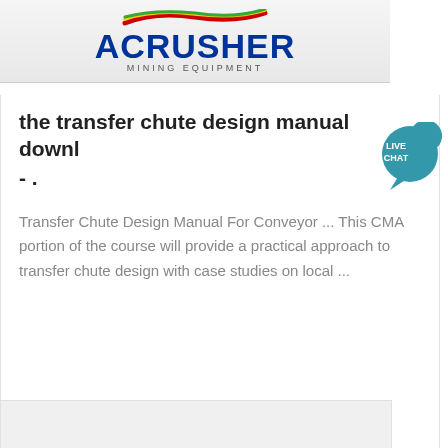[Figure (logo): ACRUSHER Mining Equipment logo with colored stripes above the text]
the transfer chute design manual downl - .
Transfer Chute Design Manual For Conveyor ... This CMA portion of the course will provide a practical approach to transfer chute design with case studies on local ...
Get Price
[Figure (screenshot): Bottom partial card area with light gray background]